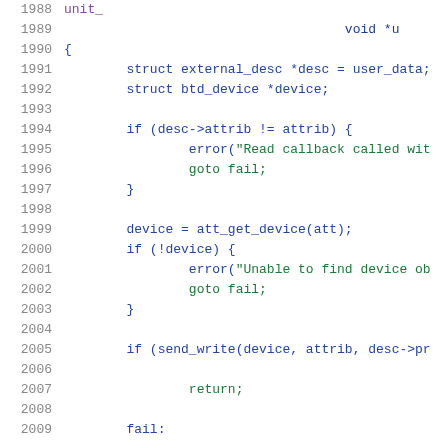[Figure (screenshot): Source code listing showing C code lines 1988-2009, with line numbers on the left and syntax-highlighted code on the right. Colors: blue for keywords/identifiers, green for string literals, default for operators and punctuation.]